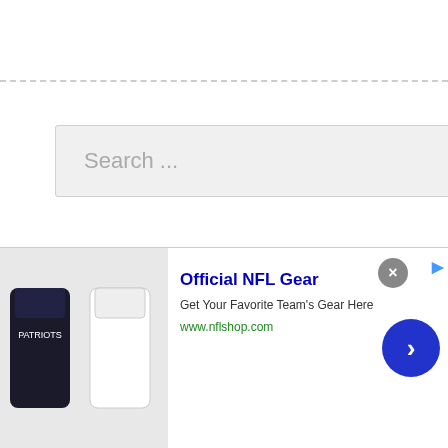[Figure (screenshot): Search bar UI element with placeholder text 'Search ...' on light gray background]
[Figure (infographic): P2Gamer advertisement banner for League of Legends featuring game character, mountains background. Text: P2Gamer logo, LEAGUE of LEGENDS, Accounts & Skin, Shop Now!]
[Figure (infographic): Infolinks branding bar in dark background at bottom of gaming ad]
[Figure (infographic): Official NFL Gear advertisement with NFL jerseys image, title 'Official NFL Gear', description 'Get Your Favorite Team's Gear Here', URL www.nflshop.com, close button X, blue arrow button]